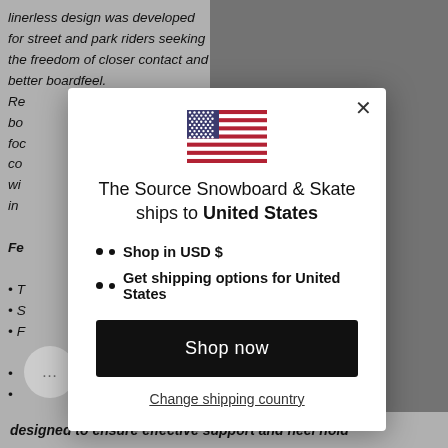linerless design was developed for street and park riders seeking the freedom of closer contact and better boardfeel. Re bo foc co wi in
Fe
T
S
F
[Figure (screenshot): Modal dialog overlay on a website. Shows US flag icon, text 'The Source Snowboard & Skate ships to United States', two bullet points: 'Shop in USD $' and 'Get shipping options for United States', a 'Shop now' button, and a 'Change shipping country' link. An X close button is in the top right of the modal.]
designed to ensure effective support and heel hold